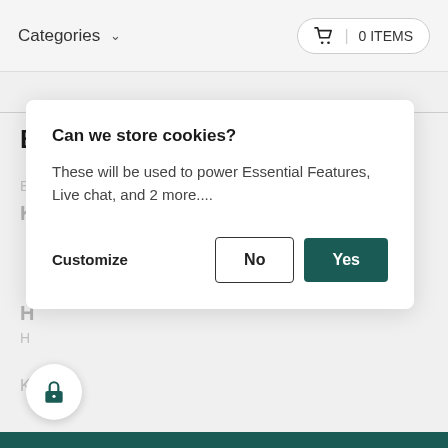Categories  ∨    🛒 | 0 ITEMS
Black Tea
[Figure (screenshot): Cookie consent modal dialog on a tea e-commerce website background showing Black Tea category page]
Can we store cookies?
These will be used to power Essential Features, Live chat, and 2 more....
Customize   No   Yes